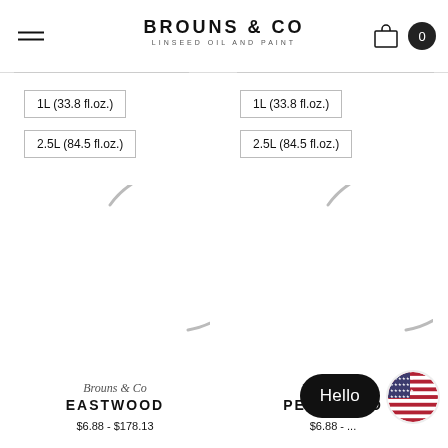BROUNS & CO — Linseed Oil and Paint
1L (33.8 fl.oz.)
2.5L (84.5 fl.oz.)
1L (33.8 fl.oz.)
2.5L (84.5 fl.oz.)
[Figure (illustration): Loading spinner arc for left product (Eastwood)]
[Figure (illustration): Loading spinner arc for right product (Pearwood)]
Brouns & Co
EASTWOOD
$6.88 - $178.13
Brouns & Co
PEARWOOD
$6.88 - ...